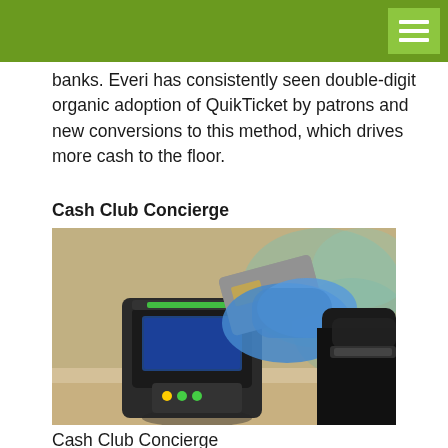banks. Everi has consistently seen double-digit organic adoption of QuikTicket by patrons and new conversions to this method, which drives more cash to the floor.
Cash Club Concierge
[Figure (photo): A person wearing a blue latex glove holds a credit/debit card near a card payment terminal on a counter, in the process of making a contactless or tap payment.]
Cash Club Concierge